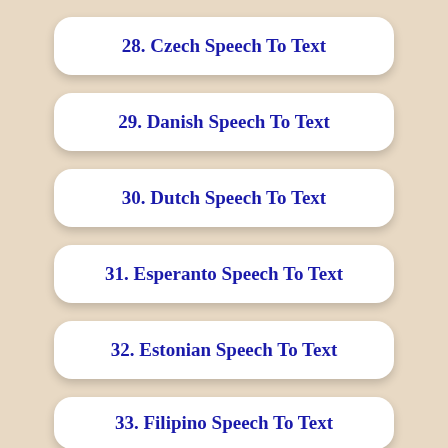28. Czech Speech To Text
29. Danish Speech To Text
30. Dutch Speech To Text
31. Esperanto Speech To Text
32. Estonian Speech To Text
33. Filipino Speech To Text